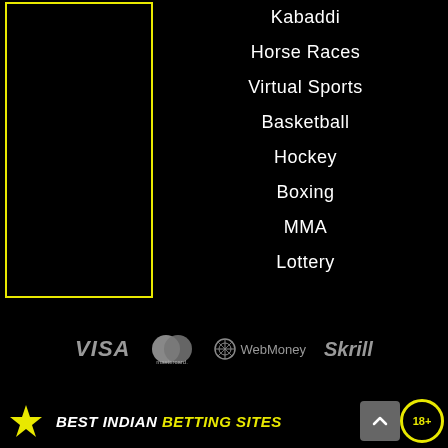Kabaddi
Horse Races
Virtual Sports
Basketball
Hockey
Boxing
MMA
Lottery
[Figure (logo): Payment method logos: VISA, Mastercard, WebMoney, Skrill]
[Figure (logo): Best Indian Betting Sites logo with trophy icon, scroll-to-top button, and 18+ age badge]